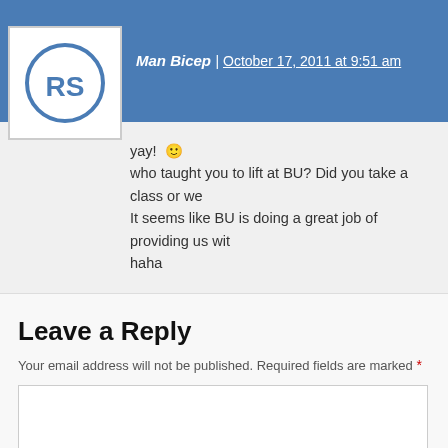Man Bicep | October 17, 2011 at 9:51 am
yay! 🙂
who taught you to lift at BU? Did you take a class or we
It seems like BU is doing a great job of providing us wit
haha
Leave a Reply
Your email address will not be published. Required fields are marked *